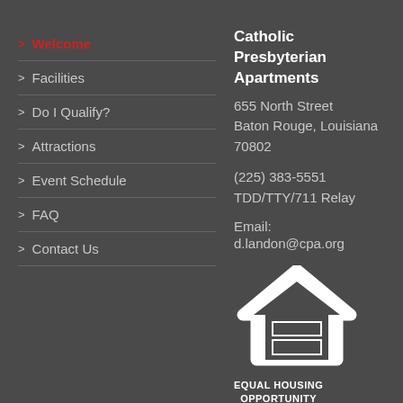> Welcome
> Facilities
> Do I Qualify?
> Attractions
> Event Schedule
> FAQ
> Contact Us
Catholic Presbyterian Apartments
655 North Street
Baton Rouge, Louisiana 70802
(225) 383-5551
TDD/TTY/711 Relay
Email:
d.landon@cpa.org
[Figure (logo): Equal Housing Opportunity logo with house icon and text EQUAL HOUSING OPPORTUNITY]